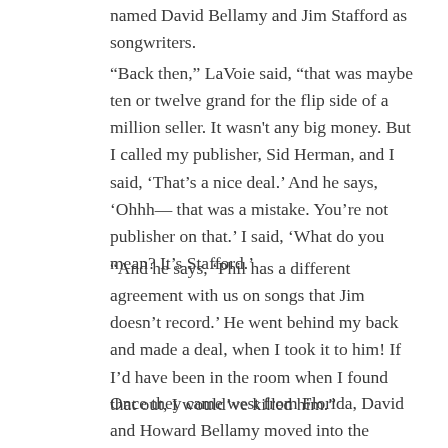named David Bellamy and Jim Stafford as songwriters.
“Back then,” LaVoie said, “that was maybe ten or twelve grand for the flip side of a million seller. It wasn't any big money. But I called my publisher, Sid Herman, and I said, ‘That’s a nice deal.’ And he says, ‘Ohhh— that was a mistake. You’re not publisher on that.’ I said, ‘What do you mean? It’s Stafford.’
“And he says, ‘Phil has a different agreement with us on songs that Jim doesn’t record.’ He went behind my back and made a deal, when I took it to him! If I’d have been in the room when I found that out, I would’ve killed him.”
Once they came west from Florida, David and Howard Bellamy moved into the ground floor of the Hollywood Hills home, two rooms over from Gallagher. Stafford and Calder were on the upper level. “The heater was in my part, so I could hear Jim and Madeline argue—sometimes about me,” Gallagher said.